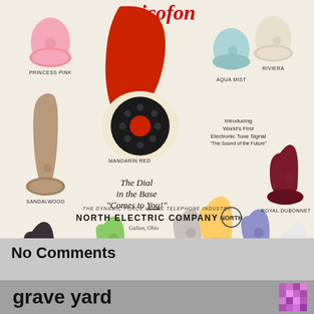[Figure (illustration): Vintage advertisement for Ericofon phones by North Electric Company showing multiple telephone models in various colors: Princess Pink, Mandarin Red, Riviera, Aqua Mist, Sandalwood, Crystal Mint, Persian Grey, Wedgewood, Candle Glow, Royal Dubonnet, Charcoal, Taj Mahal. Text reads 'The Dial in the Base Comes to You!' and 'Introducing World's First Electronic Tone Signal The Sound of the Future'. Company: North Electric Company, Galion, Ohio.]
No Comments
grave yard